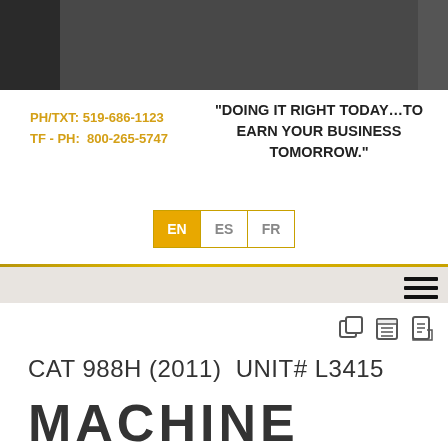[Figure (photo): Dark grey header banner with varying shades of grey]
PH/TXT: 519-686-1123
TF - PH:  800-265-5747
“DOING IT RIGHT TODAY…TO EARN YOUR BUSINESS TOMORROW.”
[Figure (other): Language selector buttons showing EN (active/yellow), ES, FR]
CAT 988H (2011)  UNIT# L3415
MACHINE